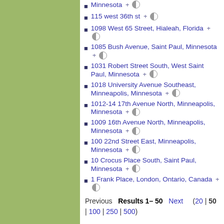Minnesota
115 west 36th st
1098 West 65 Street, Hialeah, Florida
1085 Bush Avenue, Saint Paul, Minnesota
1031 Robert Street South, West Saint Paul, Minnesota
1018 University Avenue Southeast, Minneapolis, Minnesota
1012-14 17th Avenue North, Minneapolis, Minnesota
1009 16th Avenue North, Minneapolis, Minnesota
100 22nd Street East, Minneapolis, Minnesota
10 Crocus Place South, Saint Paul, Minnesota
1 Frank Place, London, Ontario, Canada
Previous  Results 1– 50  Next  (20 | 50 | 100 | 250 | 500)